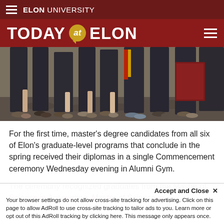ELON UNIVERSITY
TODAY at ELON
[Figure (photo): Graduates in academic regalia standing in a row at commencement ceremony, showing lower bodies with caps and gowns, one holding a diploma folder]
For the first time, master's degree candidates from all six of Elon's graduate-level programs that conclude in the spring received their diplomas in a single Commencement ceremony Wednesday evening in Alumni Gym.
The ceremony recognized graduates from the Master of Science in Accounting, Master of Science in
Accept and Close ✕
Your browser settings do not allow cross-site tracking for advertising. Click on this page to allow AdRoll to use cross-site tracking to tailor ads to you. Learn more or opt out of this AdRoll tracking by clicking here. This message only appears once.